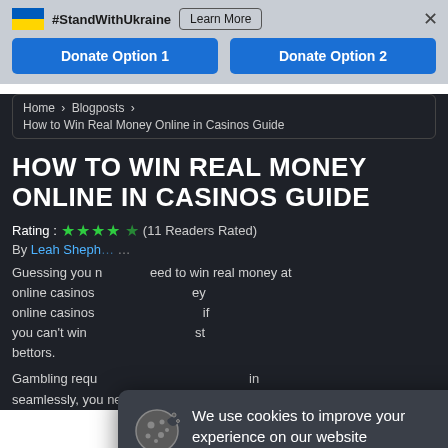#StandWithUkraine  Learn More  ×  Donate Option 1  Donate Option 2
Home › Blogposts › How to Win Real Money Online in Casinos Guide
HOW TO WIN REAL MONEY ONLINE IN CASINOS GUIDE
Rating : ★★★★½ (11 Readers Rated)
By Leah Shepherd…
Guessing you need to win real money at online casinos… if you can't win … bettors.
Gambling requ… in seamlessly, you need to keep reading because the secret of
We use cookies to improve your experience on our website
More Information
AGREE